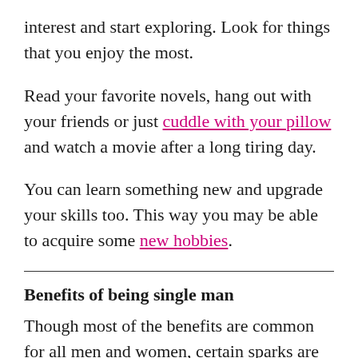interest and start exploring. Look for things that you enjoy the most.
Read your favorite novels, hang out with your friends or just cuddle with your pillow and watch a movie after a long tiring day.
You can learn something new and upgrade your skills too. This way you may be able to acquire some new hobbies.
Benefits of being single man
Though most of the benefits are common for all men and women, certain sparks are